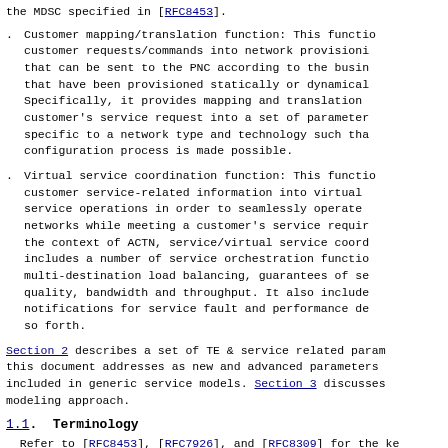the MDSC specified in [RFC8453].
Customer mapping/translation function: This function translates customer requests/commands into network provisioning commands that can be sent to the PNC according to the business models that have been provisioned statically or dynamically. Specifically, it provides mapping and translation of a customer's service request into a set of parameters specific to a network type and technology such that the configuration process is made possible.
Virtual service coordination function: This function translates customer service-related information into virtual service operations in order to seamlessly operate across networks while meeting a customer's service requirements. In the context of ACTN, service/virtual service coordination includes a number of service orchestration functions such as multi-destination load balancing, guarantees of service quality, bandwidth and throughput. It also includes notifications for service fault and performance degradation, and so forth.
Section 2 describes a set of TE & service related parameters this document addresses as new and advanced parameters to be included in generic service models. Section 3 discusses the modeling approach.
1.1. Terminology
Refer to [RFC8453], [RFC7926], and [RFC8309] for the key terms used in this document.